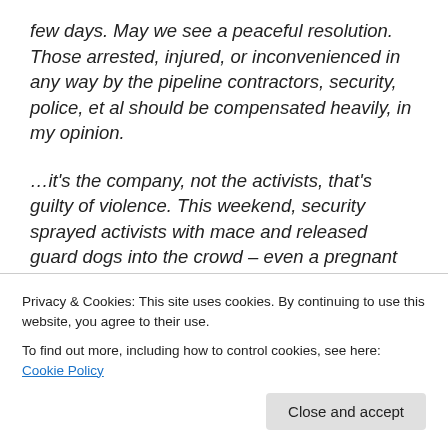few days. May we see a peaceful resolution. Those arrested, injured, or inconvenienced in any way by the pipeline contractors, security, police, et al should be compensated heavily, in my opinion.
…it's the company, not the activists, that's guilty of violence. This weekend, security sprayed activists with mace and released guard dogs into the crowd – even a pregnant woman was bitten by a dog. Democracy Now! captured disturbing footage of the attack.
In the aftermath of such violence, we can't lose sight of
Privacy & Cookies: This site uses cookies. By continuing to use this website, you agree to their use. To find out more, including how to control cookies, see here: Cookie Policy